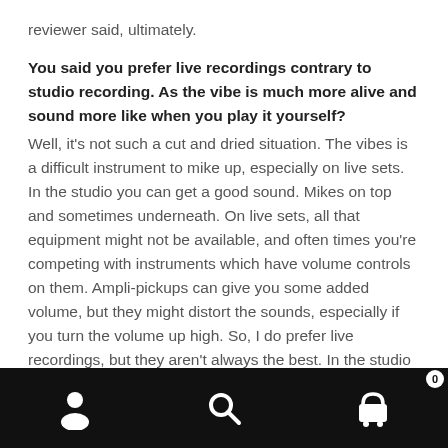reviewer said, ultimately.
You said you prefer live recordings contrary to studio recording. As the vibe is much more alive and sound more like when you play it yourself?
Well, it's not such a cut and dried situation. The vibes is a difficult instrument to mike up, especially on live sets. In the studio you can get a good sound. Mikes on top and sometimes underneath. On live sets, all that equipment might not be available, and often times you're competing with instruments which have volume controls on them. Ampli-pickups can give you some added volume, but they might distort the sounds, especially if you turn the volume up high. So, I do prefer live recordings, but they aren't always the best. In the studio you have more time and
[Figure (other): Mobile app bottom navigation bar with three icons: user/profile icon, search icon, and shopping cart icon with badge showing 0]